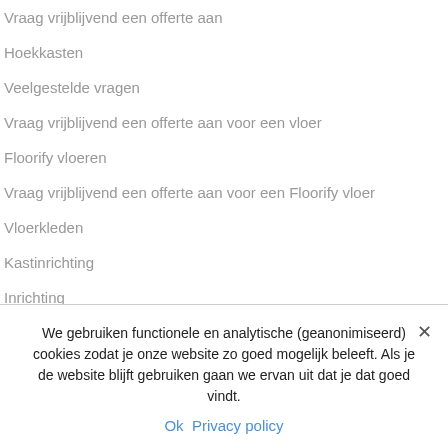Vraag vrijblijvend een offerte aan
Hoekkasten
Veelgestelde vragen
Vraag vrijblijvend een offerte aan voor een vloer
Floorify vloeren
Vraag vrijblijvend een offerte aan voor een Floorify vloer
Vloerkleden
Kastinrichting
Inrichting
Raambekleding
We gebruiken functionele en analytische (geanonimiseerd) cookies zodat je onze website zo goed mogelijk beleeft. Als je de website blijft gebruiken gaan we ervan uit dat je dat goed vindt.
Ok   Privacy policy